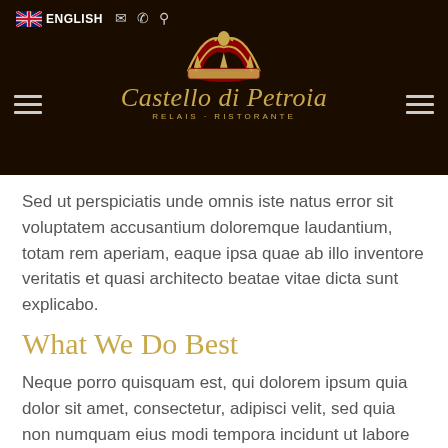ENGLISH
[Figure (logo): Castello di Petroia Relais Ristorante logo with crown and golden script text]
Sed ut perspiciatis unde omnis iste natus error sit voluptatem accusantium doloremque laudantium, totam rem aperiam, eaque ipsa quae ab illo inventore veritatis et quasi architecto beatae vitae dicta sunt explicabo.
What We Do Best
Neque porro quisquam est, qui dolorem ipsum quia dolor sit amet, consectetur, adipisci velit, sed quia non numquam eius modi tempora incidunt ut labore et dolore